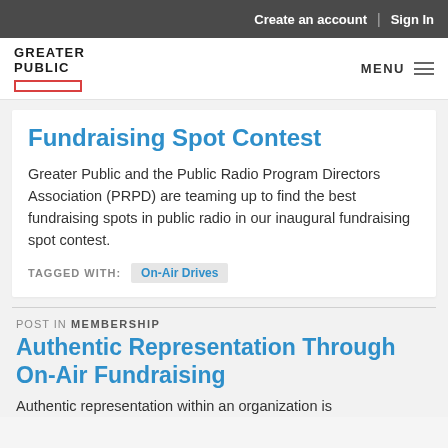Create an account | Sign In
[Figure (logo): Greater Public logo with red underline rectangle and MENU hamburger icon]
Fundraising Spot Contest
Greater Public and the Public Radio Program Directors Association (PRPD) are teaming up to find the best fundraising spots in public radio in our inaugural fundraising spot contest.
TAGGED WITH: On-Air Drives
POST IN MEMBERSHIP
Authentic Representation Through On-Air Fundraising
Authentic representation within an organization is